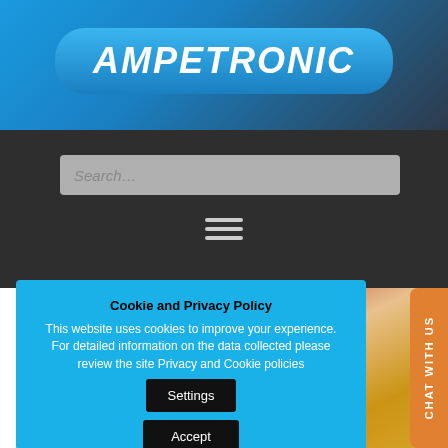[Figure (logo): Ampetronic logo in white bold italic text on a blue rounded-rectangle pill background]
[Figure (screenshot): Search bar with placeholder text 'Search...' on dark navigation background, with hamburger menu icon below]
[Figure (photo): Photo of people (audience) in a cinema or theater, visible behind the cookie consent overlay]
Cookie and Privacy Policy
This website uses cookies to improve your experience. For detailed information on the data collected please review the site Privacy and Cookie policies
Settings
Accept
CHAT WITH US